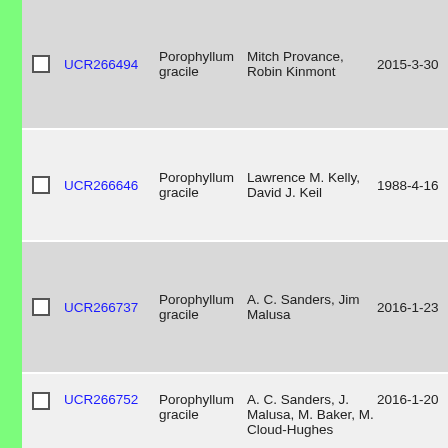|  | ID | Taxon | Collector | Date |  |
| --- | --- | --- | --- | --- | --- |
| ☐ | UCR266494 | Porophyllum gracile | Mitch Provance, Robin Kinmont | 2015-3-30 | 31 |
| ☐ | UCR266646 | Porophyllum gracile | Lawrence M. Kelly, David J. Keil | 1988-4-16 | 04 |
| ☐ | UCR266737 | Porophyllum gracile | A. C. Sanders, Jim Malusa | 2016-1-23 | 41 |
| ☐ | UCR266752 | Porophyllum gracile | A. C. Sanders, J. Malusa, M. Baker, M. Cloud-Hughes | 2016-1-20 | 41 |